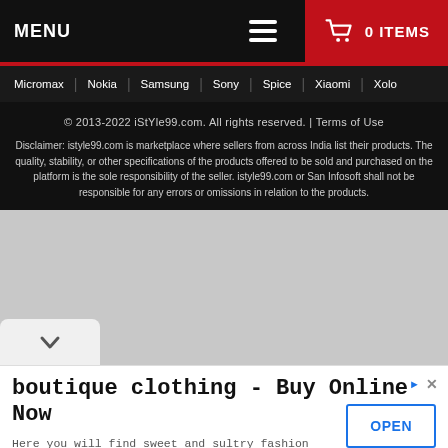MENU  ≡  🛒 0 ITEMS
Micromax | Nokia | Samsung | Sony | Spice | Xiaomi | Xolo
© 2013-2022 iStYle99.com. All rights reserved. | Terms of Use
Disclaimer: istyle99.com is marketplace where sellers from across India list their products. The quality, stability, or other specifications of the products offered to be sold and purchased on the platform is the sole responsibility of the seller. istyle99.com or San Infosoft shall not be responsible for any errors or omissions in relation to the products.
[Figure (other): Gray placeholder/ad area with chevron dropdown button]
boutique clothing - Buy Online Now
Here you will find sweet and sultry fashion that suits your mood redapplevixen.com